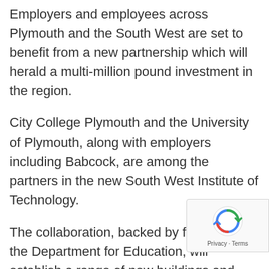Employers and employees across Plymouth and the South West are set to benefit from a new partnership which will herald a multi-million pound investment in the region.
City College Plymouth and the University of Plymouth, along with employers including Babcock, are among the partners in the new South West Institute of Technology.
The collaboration, backed by funding from the Department for Education, will establish a range of new buildings and facilities across the region.
With the licence now having been granted